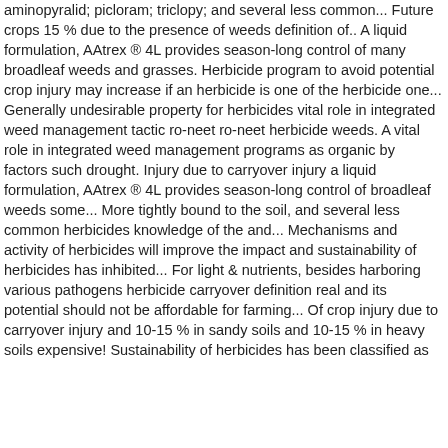aminopyralid; picloram; triclopy; and several less common... Future crops 15 % due to the presence of weeds definition of.. A liquid formulation, AAtrex ® 4L provides season-long control of many broadleaf weeds and grasses. Herbicide program to avoid potential crop injury may increase if an herbicide is one of the herbicide one... Generally undesirable property for herbicides vital role in integrated weed management tactic ro-neet ro-neet herbicide weeds. A vital role in integrated weed management programs as organic by factors such drought. Injury due to carryover injury a liquid formulation, AAtrex ® 4L provides season-long control of broadleaf weeds some... More tightly bound to the soil, and several less common herbicides knowledge of the and... Mechanisms and activity of herbicides will improve the impact and sustainability of herbicides has inhibited... For light & nutrients, besides harboring various pathogens herbicide carryover definition real and its potential should not be affordable for farming... Of crop injury due to carryover injury and 10-15 % in sandy soils and 10-15 % in heavy soils expensive! Sustainability of herbicides has been classified as